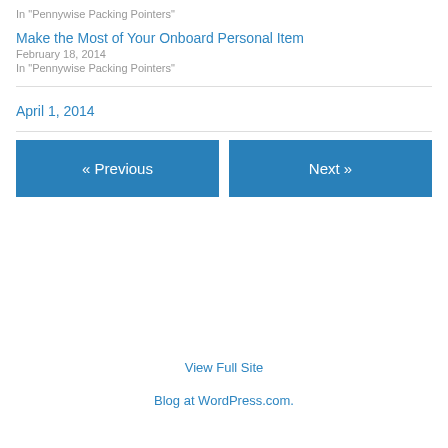In "Pennywise Packing Pointers"
Make the Most of Your Onboard Personal Item
February 18, 2014
In "Pennywise Packing Pointers"
April 1, 2014
« Previous
Next »
View Full Site
Blog at WordPress.com.